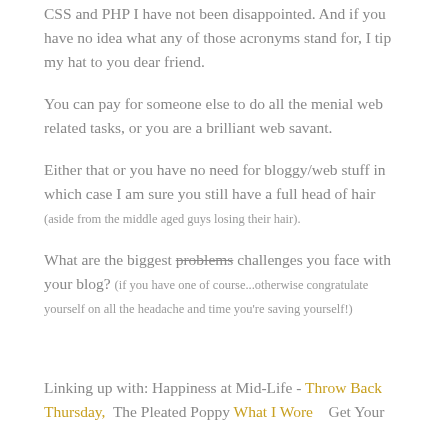CSS and PHP I have not been disappointed. And if you have no idea what any of those acronyms stand for, I tip my hat to you dear friend.
You can pay for someone else to do all the menial web related tasks, or you are a brilliant web savant.
Either that or you have no need for bloggy/web stuff in which case I am sure you still have a full head of hair (aside from the middle aged guys losing their hair).
What are the biggest problems challenges you face with your blog? (if you have one of course...otherwise congratulate yourself on all the headache and time you're saving yourself!)
Linking up with: Happiness at Mid-Life - Throw Back Thursday,  The Pleated Poppy What I Wore   Get Your